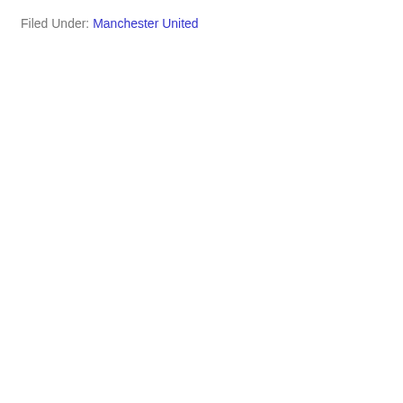Filed Under: Manchester United